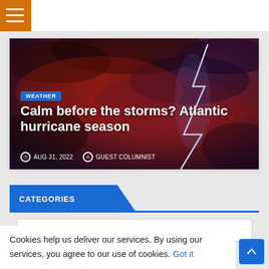Navigation bar with hamburger menu
[Figure (photo): Storm scene with red/purple dramatic sky and lightning bolt, used as hero image for a weather article]
WEATHER
Calm before the storms? Atlantic hurricane season
AUG 31, 2022   GUEST COLUMNIST
CATEGORIES
Select Category
Cookies help us deliver our services. By using our services, you agree to our use of cookies.
Got it